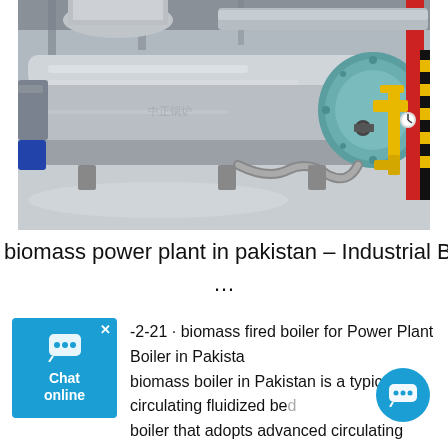[Figure (photo): Industrial boiler equipment in a factory setting — large silver cylindrical boiler with teal/blue end cap, yellow and red pipes, hoses and fittings visible. Factory floor with overhead structure.]
biomass power plant in pakistan – Industrial Boiler ...
-2-21 · biomass fired boiler for Power Plant Boiler in Pakistan biomass boiler in Pakistan is a typical circulating fluidized bed boiler that adopts advanced circulating fluidized bed combustion technology. biomass boiler is … boiler for biomass power Pakistan – Biomass Fired … Biomass Energy Potential in Pakistan